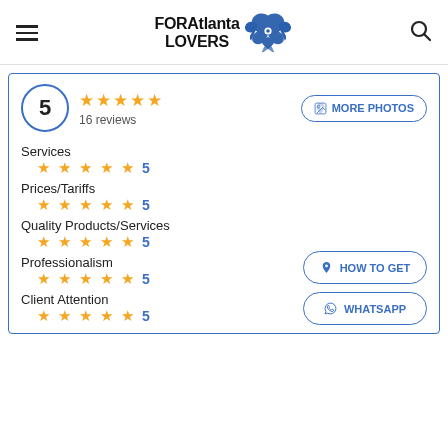FORAtlanta LOVERS
[Figure (logo): FORAtlanta LOVERS logo with blue eagle/bird emblem]
5 — 16 reviews
MORE PHOTOS
Services — 5 stars — 5
Prices/Tariffs — 5 stars — 5
Quality Products/Services — 5 stars — 5
Professionalism — 5 stars — 5
Client Attention — 5 stars — 5
HOW TO GET
WHATSAPP